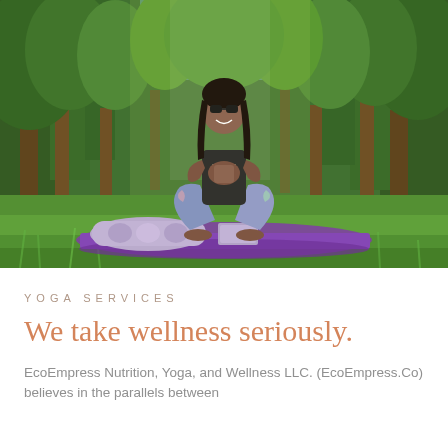[Figure (photo): A woman in colorful yoga pants and a dark t-shirt sits in a yoga squat pose (malasana/garland) on a purple yoga mat outdoors on green grass. She is smiling, wearing sunglasses, with hands pressed together in prayer position. A patterned yoga bolster sits to her left, a purple yoga block beneath her. The background is lush green forest trees with dappled sunlight.]
YOGA SERVICES
We take wellness seriously.
EcoEmpress Nutrition, Yoga, and Wellness LLC. (EcoEmpress.Co) believes in the parallels between